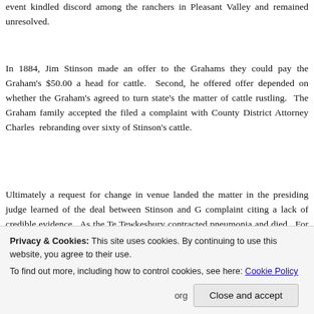event kindled discord among the ranchers in Pleasant Valley and remained unresolved.
In 1884, Jim Stinson made an offer to the Grahams they could pay the Graham's $50.00 a head for cattle. Second, he offered offer depended on whether the Graham's agreed to turn state's the matter of cattle rustling. The Graham family accepted the filed a complaint with County District Attorney Charles rebranding over sixty of Stinson's cattle.
Ultimately a request for change in venue landed the matter in the presiding judge learned of the deal between Stinson and G complaint citing a lack of credible evidence. As the Te Tewkesbury contracted pneumonia and died. For whatever rea
Privacy & Cookies: This site uses cookies. By continuing to use this website, you agree to their use.
To find out more, including how to control cookies, see here: Cookie Policy